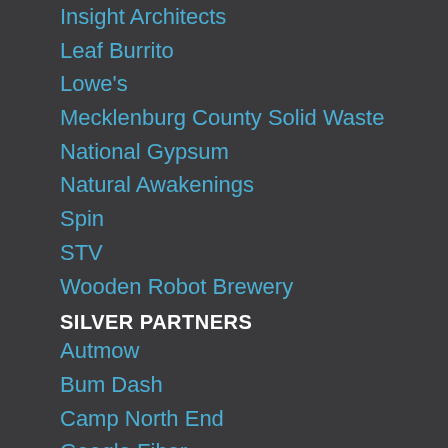Insight Architects
Leaf Burrito
Lowe's
Mecklenburg County Solid Waste
National Gypsum
Natural Awakenings
Spin
STV
Wooden Robot Brewery
SILVER PARTNERS
Autmow
Bum Dash
Camp North End
Google Fiber
Inspired Plastics
JE Dunn